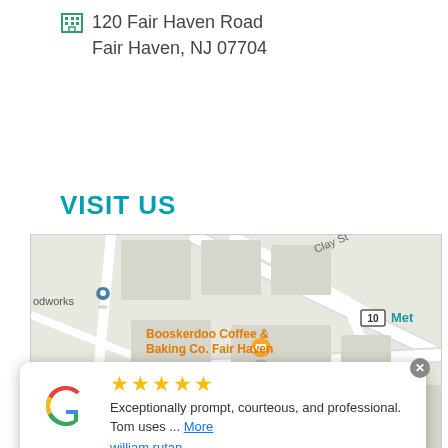120 Fair Haven Road
Fair Haven, NJ 07704
VISIT US
[Figure (map): Google Maps showing location near Booskerdoo Coffee & Baking Co. Fair Haven, with street labels Clay St and Oak Pl, and nearby markers for woodworks, upo Pizzeria Fair Haven, Spring House, and Met.]
★★★★★ Exceptionally prompt, courteous, and professional. Tom uses ... More
william rutan